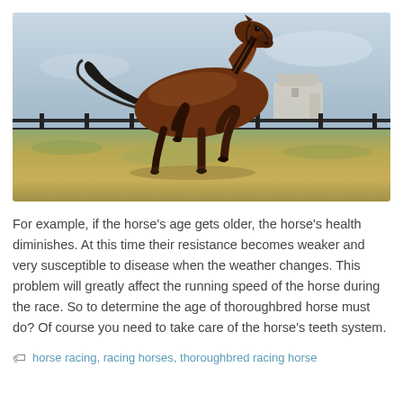[Figure (photo): A brown thoroughbred horse galloping in a paddock with a fence and buildings in the background, green and golden grass field, blue-grey sky.]
For example, if the horse’s age gets older, the horse’s health diminishes. At this time their resistance becomes weaker and very susceptible to disease when the weather changes. This problem will greatly affect the running speed of the horse during the race. So to determine the age of thoroughbred horse must do? Of course you need to take care of the horse’s teeth system.
horse racing, racing horses, thoroughbred racing horse